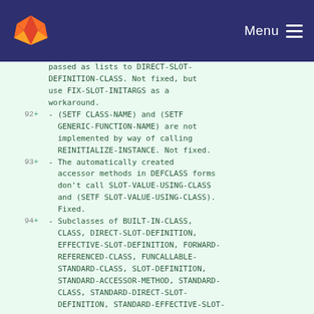GitLab Menu
passed as lists to DIRECT-SLOT-DEFINITION-CLASS. Not fixed, but use FIX-SLOT-INITARGS as a workaround.
92 + - (SETF CLASS-NAME) and (SETF GENERIC-FUNCTION-NAME) are not implemented by way of calling REINITIALIZE-INSTANCE. Not fixed.
93 + - The automatically created accessor methods in DEFCLASS forms don't call SLOT-VALUE-USING-CLASS and (SETF SLOT-VALUE-USING-CLASS). Fixed.
94 + - Subclasses of BUILT-IN-CLASS, CLASS, DIRECT-SLOT-DEFINITION, EFFECTIVE-SLOT-DEFINITION, FORWARD-REFERENCED-CLASS, FUNCALLABLE-STANDARD-CLASS, SLOT-DEFINITION, STANDARD-ACCESSOR-METHOD, STANDARD-CLASS, STANDARD-DIRECT-SLOT-DEFINITION, STANDARD-EFFECTIVE-SLOT-...